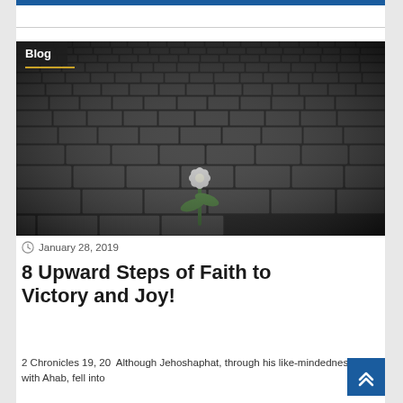[Figure (photo): A white flower growing through cobblestone pavement, dark moody lighting]
January 28, 2019
8 Upward Steps of Faith to Victory and Joy!
2 Chronicles 19, 20  Although Jehoshaphat, through his like-mindedness with Ahab, fell into